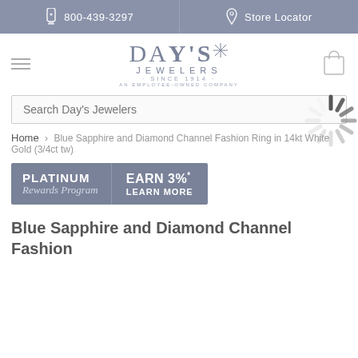800-439-3297   Store Locator
[Figure (logo): Day's Jewelers logo with star, 'Since 1914' and 'An Employee-Owned Company' text]
[Figure (screenshot): Search bar with text 'Search Day's Jewelers' and loading spinner overlay]
Home > Blue Sapphire and Diamond Channel Fashion Ring in 14kt White Gold (3/4ct tw)
[Figure (infographic): Platinum Rewards Program banner — EARN 3%* LEARN MORE]
Blue Sapphire and Diamond Channel Fashion